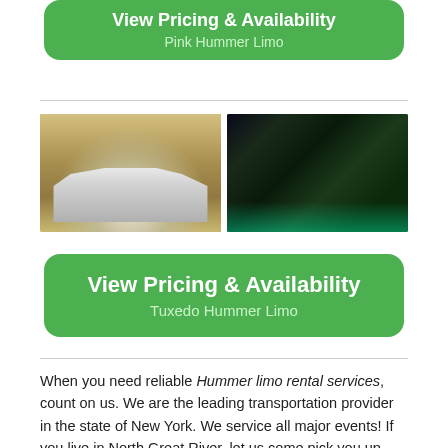[Figure (other): Green rounded button with text 'View Pricing & Availability' and subtitle 'Pink Hummer Limo']
[Figure (photo): Two side-by-side photos: left shows a white Hummer limousine parked outside an ornate building, right shows the neon-lit interior of a limousine with green floor lights and leather seating]
[Figure (other): Green rounded button with text 'View Pricing & Availability' and subtitle 'Tuxedo Hummer Limo']
When you need reliable Hummer limo rental services, count on us. We are the leading transportation provider in the state of New York. We service all major events! If you live in North Great River, let us come pick you up